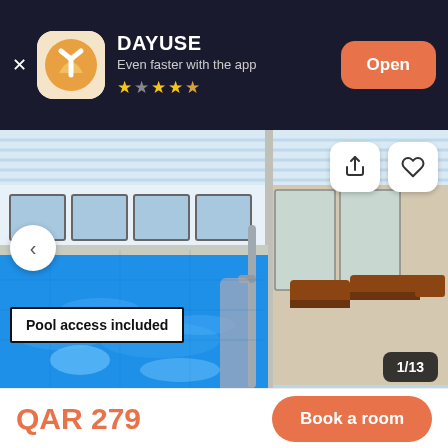[Figure (screenshot): DAYUSE app banner on dark background with orange app icon, star rating, and Open button]
[Figure (photo): Indoor swimming pool with blue water, metal handrail, lounge chairs on right side, large windows]
Pool access included
1/13
QAR 279
Book a room